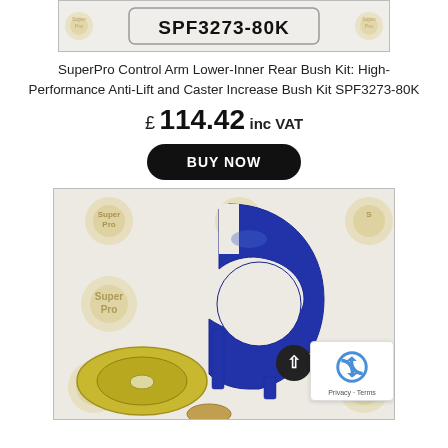[Figure (photo): Product image top strip showing part number SPF3273-80K on SuperPro branded background]
SuperPro Control Arm Lower-Inner Rear Bush Kit: High-Performance Anti-Lift and Caster Increase Bush Kit SPF3273-80K
£ 114.42 inc VAT
BUY NOW
[Figure (photo): Product photo showing blue polyurethane bush insert component with C-shape cutout and white center hole, accompanied by a metal washer, on SuperPro branded background. reCAPTCHA badge and scroll-to-top button overlay visible.]